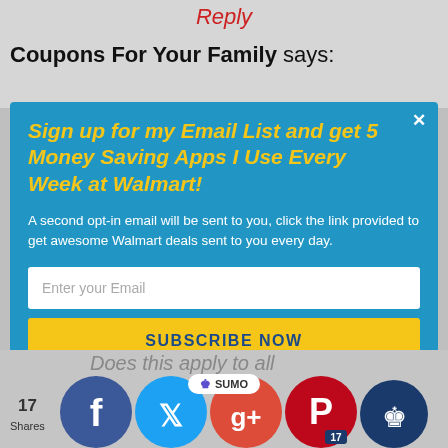Reply
Coupons For Your Family says:
[Figure (infographic): Email signup modal popup with blue background. Title in yellow italic: 'Sign up for my Email List and get 5 Money Saving Apps I Use Every Week at Walmart!' Body text in white: 'A second opt-in email will be sent to you, click the link provided to get awesome Walmart deals sent to you every day.' Email input field and yellow SUBSCRIBE NOW button.]
Does this apply to all
17 Shares
[Figure (infographic): Social sharing bar with Facebook, Twitter, Google+, Pinterest, and Sumo share buttons as colored circles. Number 17 badge on Pinterest button. SUMO badge overlay.]